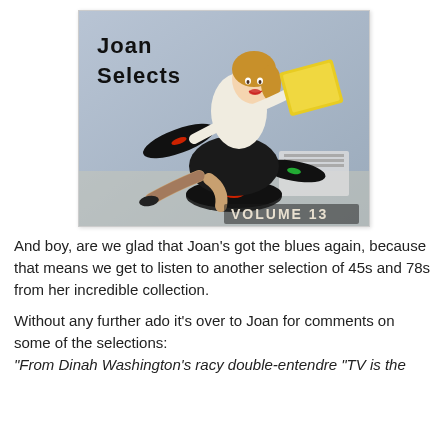[Figure (illustration): Album cover for 'Joan Selects Volume 13' featuring a vintage pin-up style illustration of a woman in a white blouse and black skirt surrounded by vinyl records (45s and 78s), holding a yellow record sleeve. Text reads 'Joan Selects' in bold black letters top-left and 'VOLUME 13' bottom-right.]
And boy, are we glad that Joan's got the blues again, because that means we get to listen to another selection of 45s and 78s from her incredible collection.
Without any further ado it's over to Joan for comments on some of the selections:
"From Dinah Washington's racy double-entendre "TV is the